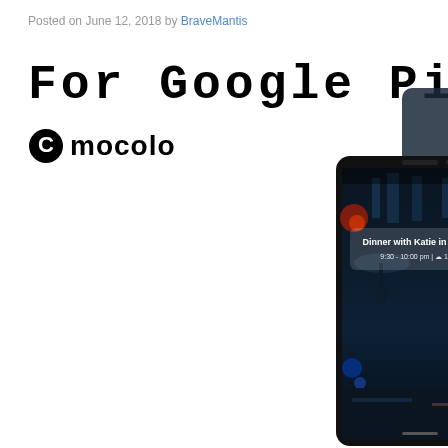Posted on June 12, 2018 by BraveMantis
For Google Pixel
[Figure (logo): Mocolo brand logo with circular C icon and text 'mocolo']
[Figure (photo): Product photo showing a Google Pixel smartphone with a Mocolo tempered glass screen protector being applied. The phone displays a rainy night street scene with the text 'Dinner with Katie in 30 min' notification.]